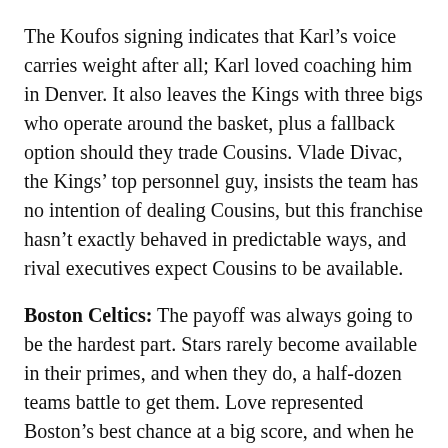The Koufos signing indicates that Karl's voice carries weight after all; Karl loved coaching him in Denver. It also leaves the Kings with three bigs who operate around the basket, plus a fallback option should they trade Cousins. Vlade Divac, the Kings' top personnel guy, insists the team has no intention of dealing Cousins, but this franchise hasn't exactly behaved in predictable ways, and rival executives expect Cousins to be available.
Boston Celtics: The payoff was always going to be the hardest part. Stars rarely become available in their primes, and when they do, a half-dozen teams battle to get them. Love represented Boston's best chance at a big score, and when he returned to the Cavs on a five-year deal, [8] Boston pivoted back into asset-acquisition mode — a mode at which Danny Ainge is better than almost anyone.